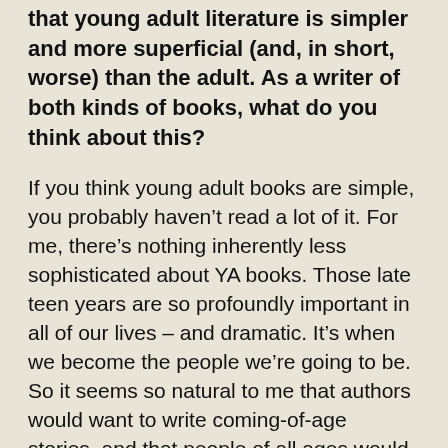that young adult literature is simpler and more superficial (and, in short, worse) than the adult. As a writer of both kinds of books, what do you think about this?
If you think young adult books are simple, you probably haven't read a lot of it. For me, there's nothing inherently less sophisticated about YA books. Those late teen years are so profoundly important in all of our lives – and dramatic. It's when we become the people we're going to be. So it seems so natural to me that authors would want to write coming-of-age stories, and that people of all ages would want to read them.